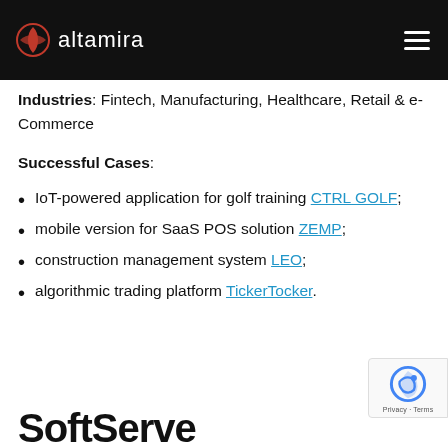altamira
Industries: Fintech, Manufacturing, Healthcare, Retail & e-Commerce
Successful Cases:
IoT-powered application for golf training CTRL GOLF;
mobile version for SaaS POS solution ZEMP;
construction management system LEO;
algorithmic trading platform TickerTocker.
SoftServe